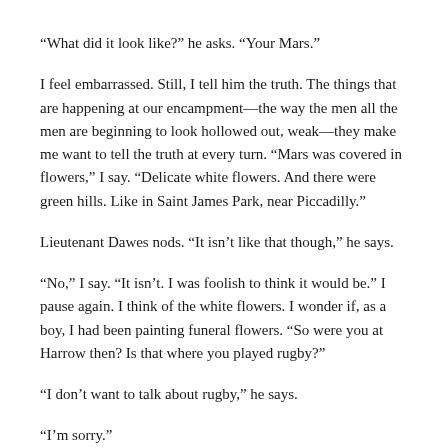“What did it look like?” he asks. “Your Mars.”
I feel embarrassed. Still, I tell him the truth. The things that are happening at our encampment—the way the men all the men are beginning to look hollowed out, weak—they make me want to tell the truth at every turn. “Mars was covered in flowers,” I say. “Delicate white flowers. And there were green hills. Like in Saint James Park, near Piccadilly.”
Lieutenant Dawes nods. “It isn’t like that though,” he says.
“No,” I say. “It isn’t. I was foolish to think it would be.” I pause again. I think of the white flowers. I wonder if, as a boy, I had been painting funeral flowers. “So were you at Harrow then? Is that where you played rugby?”
“I don’t want to talk about rugby,” he says.
“I’m sorry.”
“That’s all right,” he says. “You didn’t know.”